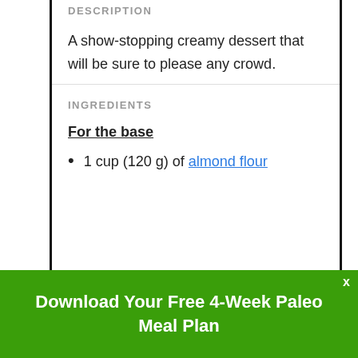DESCRIPTION
A show-stopping creamy dessert that will be sure to please any crowd.
INGREDIENTS
For the base
1 cup (120 g) of almond flour
Download Your Free 4-Week Paleo Meal Plan